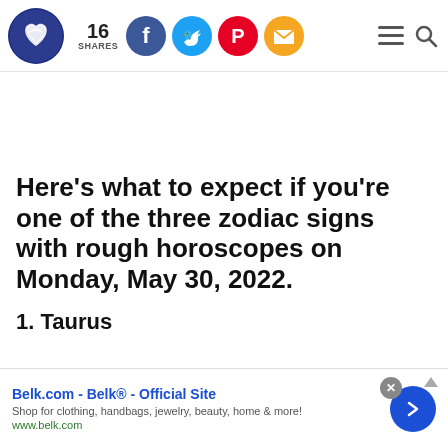16 SHARES [social icons: Facebook, Twitter, Pinterest, Email] [hamburger menu, search]
Here’s what to expect if you’re one of the three zodiac signs with rough horoscopes on Monday, May 30, 2022.
1. Taurus
[Figure (infographic): Advertisement banner: Belk.com - Belk® - Official Site. Shop for clothing, handbags, jewelry, beauty, home & more! www.belk.com]